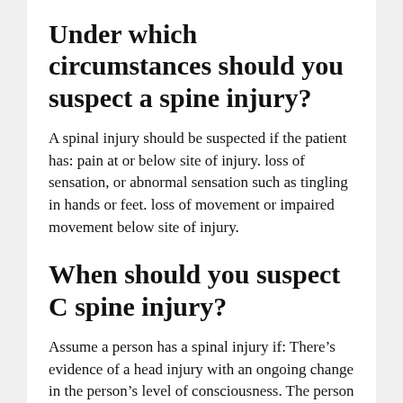Under which circumstances should you suspect a spine injury?
A spinal injury should be suspected if the patient has: pain at or below site of injury. loss of sensation, or abnormal sensation such as tingling in hands or feet. loss of movement or impaired movement below site of injury.
When should you suspect C spine injury?
Assume a person has a spinal injury if: There's evidence of a head injury with an ongoing change in the person's level of consciousness. The person complains of severe pain in his or her neck or back. A injury has caused a change in the person's level of consciousness.